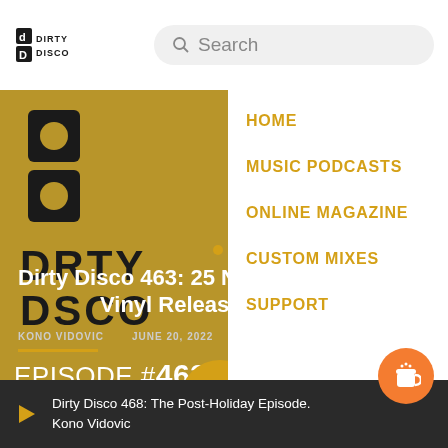Dirty Disco — Search
[Figure (screenshot): Dirty Disco website screenshot showing navigation menu overlay with HOME, MUSIC PODCASTS, ONLINE MAGAZINE, CUSTOM MIXES, SUPPORT links, and episode hero image with play button for Dirty Disco 463: 25 New Tracks Vinyl Releases & 5 Pro]
Dirty Disco 463: 25 New Tracks Vinyl Releases & 5 Pro
DIRTY DISCO RADIO EPISODES
KONO VIDOVIC  JUNE 20, 2022  128  22  5
EPISODE #463
Dirty Disco 468: The Post-Holiday Episode. Kono Vidovic